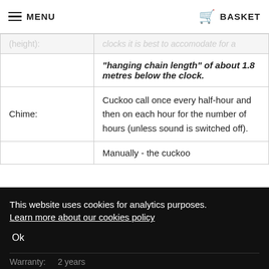MENU  BASKET
|  |  |
| --- | --- |
|  | "hanging chain length" of about 1.8 metres below the clock. |
| Chime: | Cuckoo call once every half-hour and then on each hour for the number of hours (unless sound is switched off). |
|  | Manually - the cuckoo |
| Warranty: | 2 years |
This website uses cookies for analytics purposes. Learn more about our cookies policy
Ok